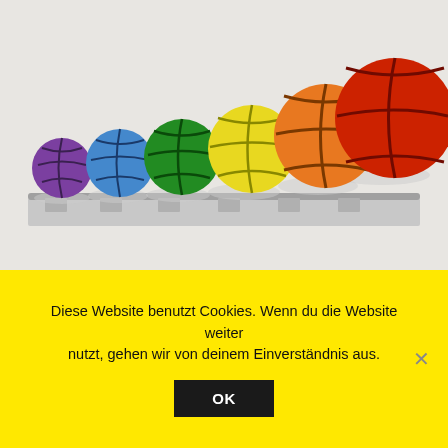[Figure (photo): Six colorful basketballs (purple, blue, green, yellow, orange, red) arranged in a row on a metal wall-mounted rack against a white background.]
Rainball
Which work are you proudest of?
Diese Website benutzt Cookies. Wenn du die Website weiter nutzt, gehen wir von deinem Einverständnis aus.